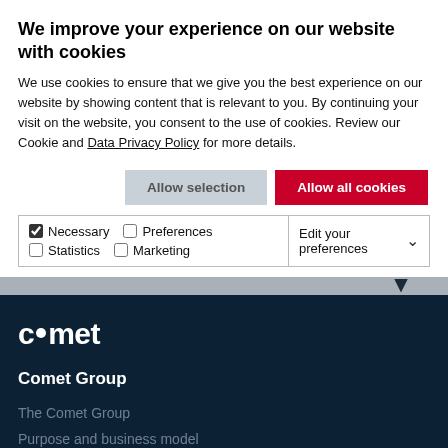We improve your experience on our website with cookies
We use cookies to ensure that we give you the best experience on our website by showing content that is relevant to you. By continuing your visit on the website, you consent to the use of cookies. Review our Cookie and Data Privacy Policy for more details.
Allow selection | Allow all cookies
Necessary | Preferences | Statistics | Marketing | Edit your preferences
[Figure (logo): Comet logo — stylized text 'c•met' in white on dark navy background]
Comet Group
The Comet Group
Purpose and business model
Information for Investors